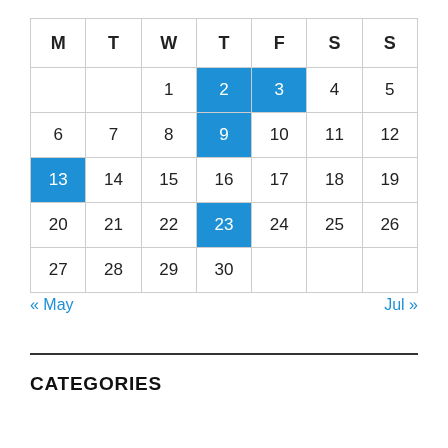| M | T | W | T | F | S | S |
| --- | --- | --- | --- | --- | --- | --- |
|  |  | 1 | 2 | 3 | 4 | 5 |
| 6 | 7 | 8 | 9 | 10 | 11 | 12 |
| 13 | 14 | 15 | 16 | 17 | 18 | 19 |
| 20 | 21 | 22 | 23 | 24 | 25 | 26 |
| 27 | 28 | 29 | 30 |  |  |  |
« May    Jul »
CATEGORIES